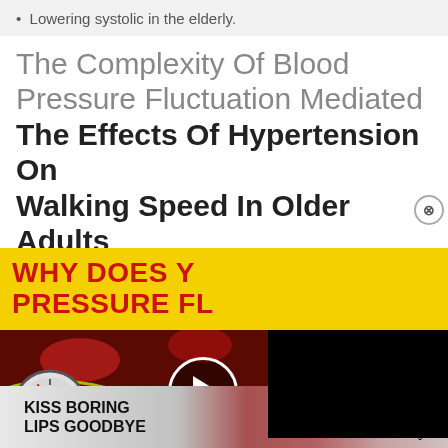Lowering systolic in the elderly.
The Complexity Of Blood Pressure Fluctuation Mediated The Effects Of Hypertension On Walking Speed In Older Adults
[Figure (screenshot): An advertisement showing a video thumbnail with the partial text 'WHY DOES Y PRESSURE FL' in bold red on a yellow banner, with an image of a blood pressure gauge and blood cells with a play button overlay, a black overlay on the upper right, and a CLOSE button at the bottom right.]
[Figure (screenshot): A banner advertisement for Macy's showing a woman's face with red lipstick, text 'KISS BORING LIPS GOODBYE' on the left, and a 'SHOP NOW' button and Macy's star logo on the right.]